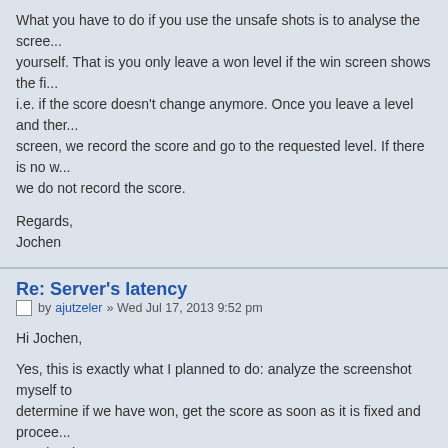What you have to do if you use the unsafe shots is to analyse the screen yourself. That is you only leave a won level if the win screen shows the fi... i.e. if the score doesn't change anymore. Once you leave a level and ther... screen, we record the score and go to the requested level. If there is no w... we do not record the score.
Regards,
Jochen
Re: Server's latency
Post by ajutzeler » Wed Jul 17, 2013 9:52 pm
Hi Jochen,
Yes, this is exactly what I planned to do: analyze the screenshot myself to determine if we have won, get the score as soon as it is fixed and procee... next level.
If I understand correctly, you said that the server records the score only w... receives a Level Selection Messages (MID = 51/52) !? So this means tha... the condition that we leave the level on a win screen you can also guaran... the server will record the score.
I am looking forward to the release of this 'unsafe' shot feature 😀
Thank you again.